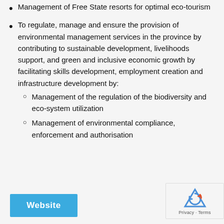Management of Free State resorts for optimal eco-tourism
To regulate, manage and ensure the provision of environmental management services in the province by contributing to sustainable development, livelihoods support, and green and inclusive economic growth by facilitating skills development, employment creation and infrastructure development by:
Management of the regulation of the biodiversity and eco-system utilization
Management of environmental compliance, enforcement and authorisation